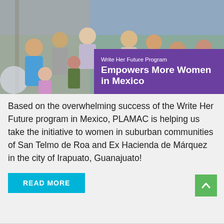[Figure (photo): Group photo of women, men, and children smiling, with a purple banner overlay reading 'Write Her Future Program Empowers More Women in Mexico']
Based on the overwhelming success of the Write Her Future program in Mexico, PLAMAC is helping us take the initiative to women in suburban communities of San Telmo de Roa and Ex Hacienda de Márquez in the city of Irapuato, Guanajuato!
READ MORE